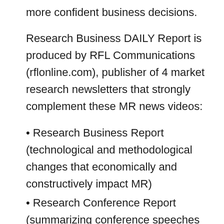more confident business decisions.
Research Business DAILY Report is produced by RFL Communications (rflonline.com), publisher of 4 market research newsletters that strongly complement these MR news videos:
• Research Business Report (technological and methodological changes that economically and constructively impact MR)
• Research Conference Report (summarizing conference speeches from around the world that present ideas, philosophies, methods, tactics, etc. that break new ground)